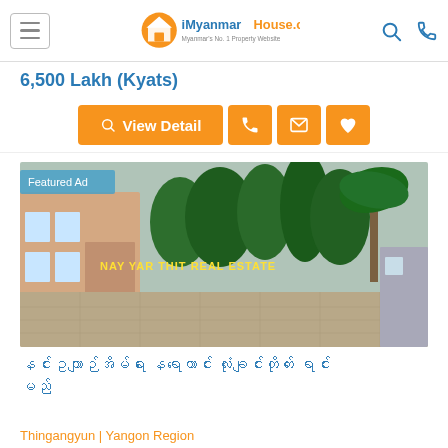iMyanmarHouse.com — Myanmar's No. 1 Property Website
6,500 Lakh (Kyats)
[Figure (screenshot): Action buttons: View Detail, phone, email, heart/favorite icons in orange]
[Figure (photo): Property photo showing a house with trees and a large paved courtyard. Featured Ad badge in top-left. Watermark: NAY YAR THIT REAL ESTATE]
နင်းဥယျာဉ်အိမ်ရာ နေရာကောင်း လုံးချင်းတိုက် ရောင်းမည်
Thingangyun | Yangon Region